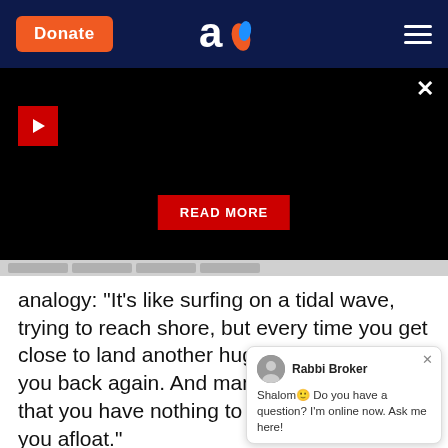Donate | Aish logo | Menu
[Figure (screenshot): Black video player area with red play button, close X button, and red READ MORE button]
analogy: "It's like surfing on a tidal wave, trying to reach shore, but every time you get close to land another huge wave pushes you back again. And many times you feel that you have nothing to hang onto to keep you afloat."
A widow whose husband has died suddenly and unexpectedly loses her footing. It doesn't matter if children are still living at home or have already moved out of the house. She has to readjust the way